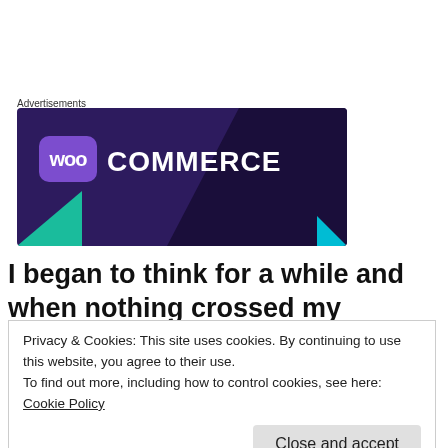Advertisements
[Figure (logo): WooCommerce advertisement banner with purple background, WOO logo bubble and COMMERCE text in white, teal triangle bottom left, cyan triangle bottom right, dark purple shape top right.]
I began to think for a while and when nothing crossed my mind...
Privacy & Cookies: This site uses cookies. By continuing to use this website, you agree to their use.
To find out more, including how to control cookies, see here: Cookie Policy
Close and accept